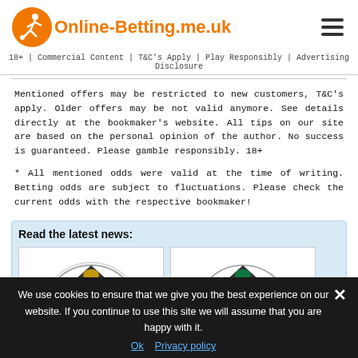Online-Betting.me.uk
18+ | Commercial Content | T&C's Apply | Play Responsibly | Advertising Disclosure
Mentioned offers may be restricted to new customers, T&C's apply. Older offers may be not valid anymore. See details directly at the bookmaker's website. All tips on our site are based on the personal opinion of the author. No success is guaranteed. Please gamble responsibly. 18+
* All mentioned odds were valid at the time of writing. Betting odds are subject to fluctuations. Please check the current odds with the respective bookmaker!
Read the latest news:
[Figure (photo): Two football/soccer balls decorated with national flags, shown in a light blue news section box.]
We use cookies to ensure that we give you the best experience on our website. If you continue to use this site we will assume that you are happy with it.
Ok   Privacy policy